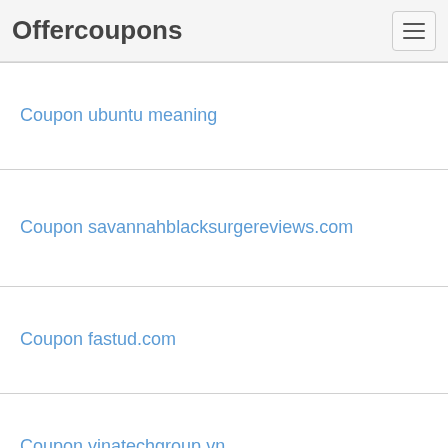Offercoupons
Coupon ubuntu meaning
Coupon savannahblacksurgereviews.com
Coupon fastud.com
Coupon vinatechgroup.vn
Coupon aHR0cHM6Ly9tYWxhbmF6LmNvbS9naWF5LXRhe...
Coupon proxyer.info
Coupon fslclaw.com